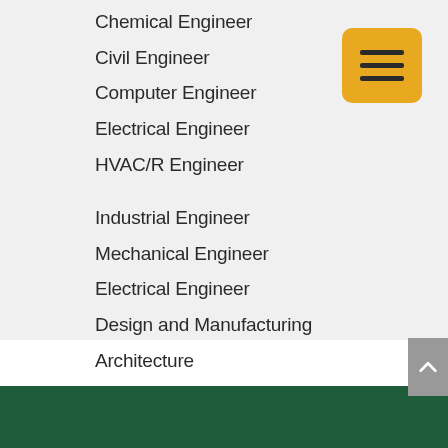Chemical Engineer
Civil Engineer
Computer Engineer
Electrical Engineer
HVAC/R Engineer
Industrial Engineer
Mechanical Engineer
Electrical Engineer
Design and Manufacturing
Architecture